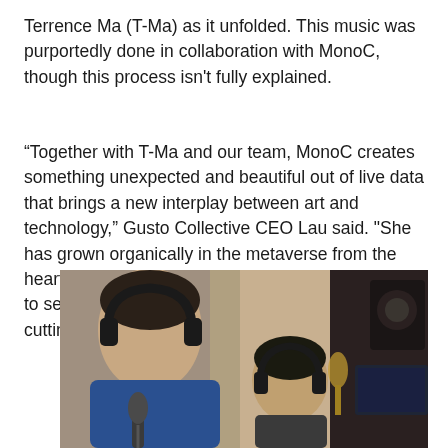Terrence Ma (T-Ma) as it unfolded. This music was purportedly done in collaboration with MonoC, though this process isn't fully explained.
“Together with T-Ma and our team, MonoC creates something unexpected and beautiful out of live data that brings a new interplay between art and technology,” Gusto Collective CEO Lau said. "She has grown organically in the metaverse from the heart of all we do at Gusto Collective. I am excited to see what innovations her creativity and our cutting-edge technologies will see in the future."
[Figure (photo): Two people in a recording studio. The person in the foreground on the left wears a blue jacket and headphones, holding them near their ears. A second person wearing headphones is visible in the background. Studio microphones and monitors are visible.]